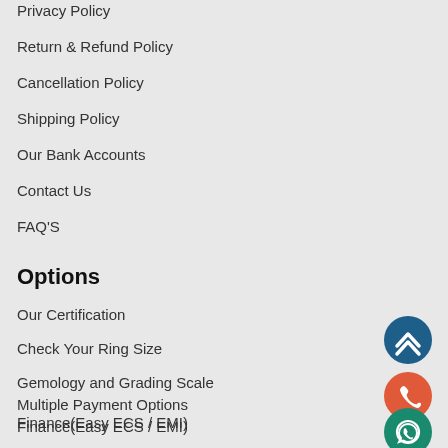Privacy Policy
Return & Refund Policy
Cancellation Policy
Shipping Policy
Our Bank Accounts
Contact Us
FAQ'S
Options
Our Certification
Check Your Ring Size
Gemology and Grading Scale
Multiple Payment Options
Finance(Easy ECS / EMI)
Latest Offers
[Figure (infographic): Three circular floating action buttons on the right: a dark blue button with double up-chevron arrow at top, an orange-red button with phone icon in middle, and a teal/green button with WhatsApp icon at bottom.]